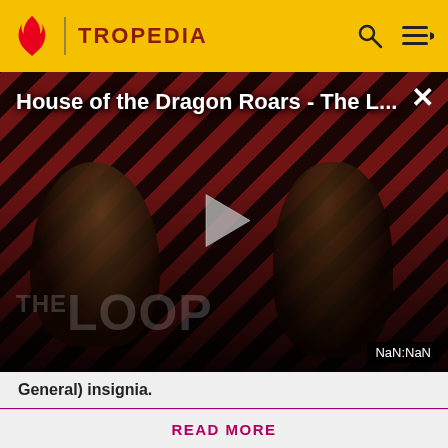TROPEDIA
[Figure (screenshot): Video player thumbnail for 'House of the Dragon Roars - The L...' with diagonal red and dark stripe pattern background, two dark silhouette figures, a play button triangle in the center, 'THE LOOP' text watermark at bottom left, and 'NaN:NaN' timestamp at bottom right. A close (X) button appears at top right.]
General) insignia.
Before making a single edit, Tropedia EXPECTS our site policy and manual of style to be followed. Failure to do so may
READ MORE